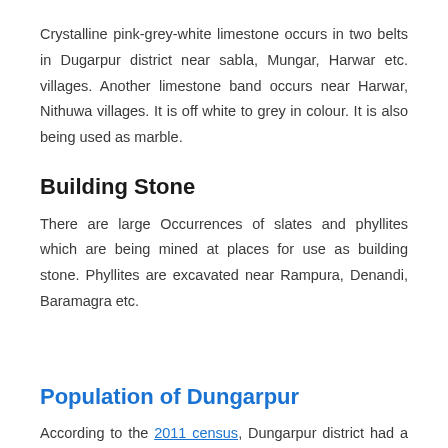Crystalline pink-grey-white limestone occurs in two belts in Dugarpur district near sabla, Mungar, Harwar etc. villages. Another limestone band occurs near Harwar, Nithuwa villages. It is off white to grey in colour. It is also being used as marble.
Building Stone
There are large Occurrences of slates and phyllites which are being mined at places for use as building stone. Phyllites are excavated near Rampura, Denandi, Baramagra etc.
Population of Dungarpur
According to the 2011 census, Dungarpur district had a population of 13,88,906. The district had a population density of 368 inhabitants per square kilometer. Its population growth rate over